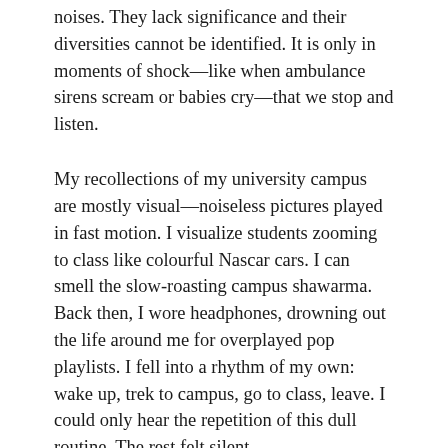noises. They lack significance and their diversities cannot be identified. It is only in moments of shock—like when ambulance sirens scream or babies cry—that we stop and listen.
My recollections of my university campus are mostly visual—noiseless pictures played in fast motion. I visualize students zooming to class like colourful Nascar cars. I can smell the slow-roasting campus shawarma. Back then, I wore headphones, drowning out the life around me for overplayed pop playlists. I fell into a rhythm of my own: wake up, trek to campus, go to class, leave. I could only hear the repetition of this dull routine. The rest felt silent.
Although often fear-inducing, silence awakens the soul like a loud thud, or an unexpected call. Silence is the off-beat in a cyclical rhythm, a beat that makes